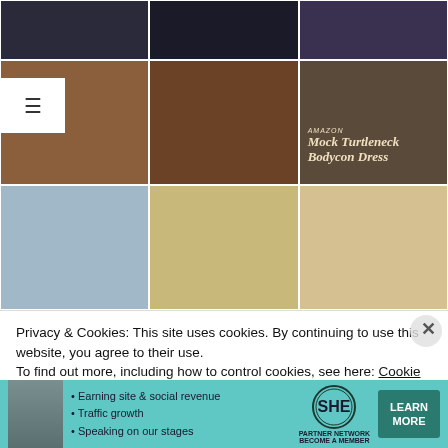[Figure (photo): 3x3 grid of fashion photos showing a woman in various outfits including a brown mock turtleneck bodycon dress and casual denim shorts with a cropped top, posed indoors and outdoors near a white fence. Third row right cell has overlay text reading 'amazon Mock Turtleneck Bodycon Dress'.]
Privacy & Cookies: This site uses cookies. By continuing to use this website, you agree to their use.
To find out more, including how to control cookies, see here: Cookie Policy
[Figure (infographic): Advertisement banner for SHE Partner Network on teal background. Shows a woman's photo, bullet points: 'Earning site & social revenue', 'Traffic growth', 'Speaking on our stages', SHE Partner Network logo, and a 'LEARN MORE' button with 'BECOME A MEMBER' subtext.]